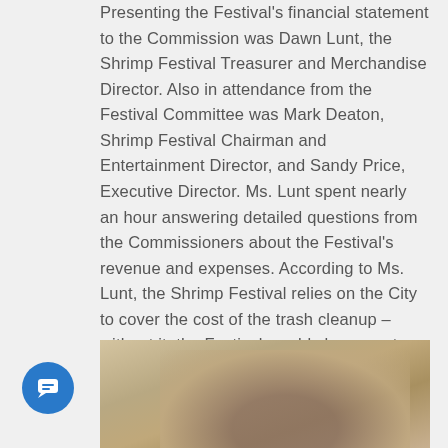Presenting the Festival's financial statement to the Commission was Dawn Lunt, the Shrimp Festival Treasurer and Merchandise Director. Also in attendance from the Festival Committee was Mark Deaton, Shrimp Festival Chairman and Entertainment Director, and Sandy Price, Executive Director. Ms. Lunt spent nearly an hour answering detailed questions from the Commissioners about the Festival's revenue and expenses. According to Ms. Lunt, the Shrimp Festival relies on the City to cover the cost of the trash cleanup – without it, the Festival would show a net loss for the year.
[Figure (photo): Partial photo of a person with brown hair, photographed against a light brick wall background. Only the top of the head and hair are visible as the image is cropped.]